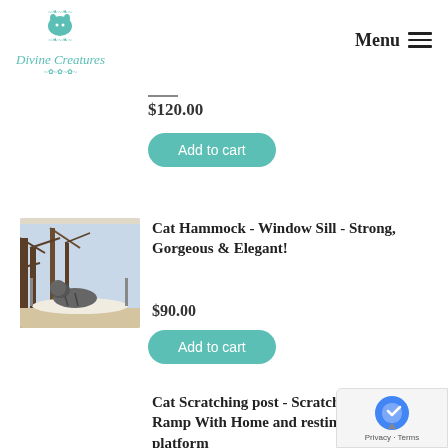[Figure (logo): Divine Creatures logo with teal cat silhouette and decorative script text]
Menu ☰
$120.00
Add to cart
[Figure (photo): Cat resting on a window sill hammock with trees visible through the window]
Cat Hammock - Window Sill - Strong, Gorgeous & Elegant!
$90.00
Add to cart
Cat Scratching post - Scratching Ramp With Home and resting platform